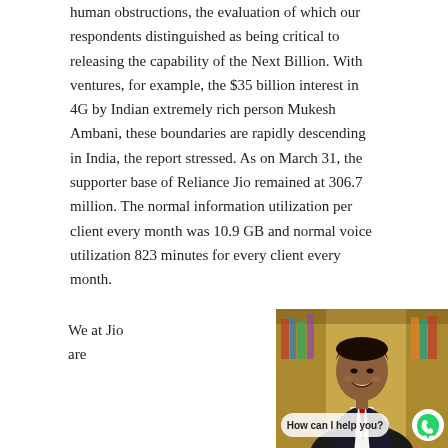human obstructions, the evaluation of which our respondents distinguished as being critical to releasing the capability of the Next Billion. With ventures, for example, the $35 billion interest in 4G by Indian extremely rich person Mukesh Ambani, these boundaries are rapidly descending in India, the report stressed. As on March 31, the supporter base of Reliance Jio remained at 306.7 million. The normal information utilization per client every month was 10.9 GB and normal voice utilization 823 minutes for every client every month.
We at Jio are
[Figure (photo): Portrait photo of Mukesh Ambani in a dark suit with a chat bubble overlay reading 'How can I help you?' and a WhatsApp button]